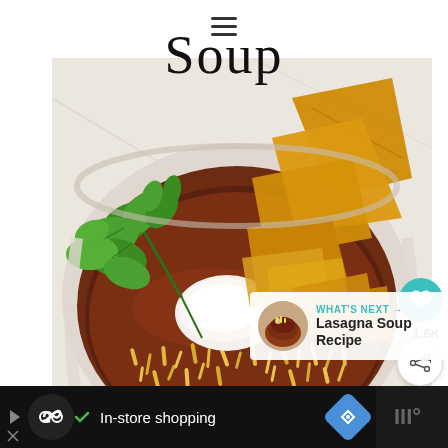≡
Soup
[Figure (photo): A white bowl of taco soup topped with shredded cheddar cheese, sour cream, tortilla strips, and fresh cilantro, photographed from above at a slight angle on a white marble surface.]
1.6K
WHAT'S NEXT → Lasagna Soup Recipe
In-store shopping